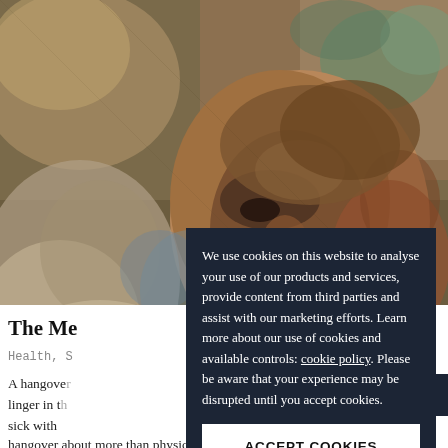[Figure (illustration): Oil painting of an elderly man's face and upper body, painted in impressionistic style with earth tones — browns, tans, oranges, with highlights of blue-grey. The figure has a weathered, aged face with deep-set eyes and a beard, looking downward.]
The Me
Health, S
A hangover [toxins linger in t[...]. We'r[e] sick with [...] a hangover about more than physical toxins, at least some of the
We use cookies on this website to analyse your use of our products and services, provide content from third parties and assist with our marketing efforts. Learn more about our use of cookies and available controls: cookie policy. Please be aware that your experience may be disrupted until you accept cookies.
ACCEPT COOKIES